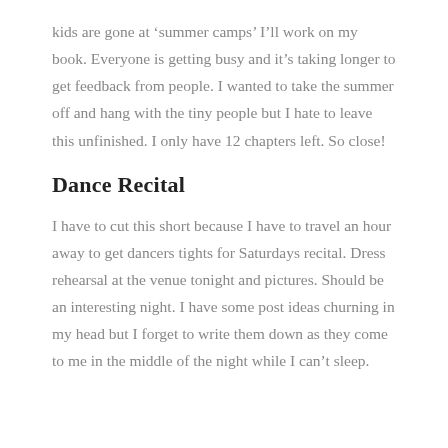kids are gone at 'summer camps' I'll work on my book. Everyone is getting busy and it's taking longer to get feedback from people. I wanted to take the summer off and hang with the tiny people but I hate to leave this unfinished. I only have 12 chapters left. So close!
Dance Recital
I have to cut this short because I have to travel an hour away to get dancers tights for Saturdays recital. Dress rehearsal at the venue tonight and pictures. Should be an interesting night. I have some post ideas churning in my head but I forget to write them down as they come to me in the middle of the night while I can't sleep.